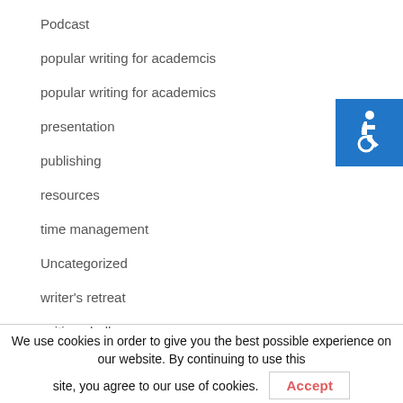Podcast
popular writing for academcis
popular writing for academics
presentation
publishing
resources
time management
Uncategorized
writer's retreat
writing challenge
[Figure (illustration): Accessibility icon: white wheelchair symbol on blue background]
We use cookies in order to give you the best possible experience on our website. By continuing to use this site, you agree to our use of cookies.
Accept